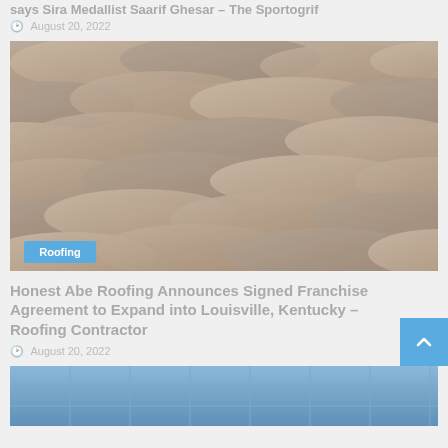says Sira Medallist Saarif Ghesar – The Sportogrif
August 20, 2022
[Figure (photo): Close-up photograph of old stone or clay roof tiles, overlapping in a traditional pattern. A blue badge reading 'Roofing' is overlaid on the lower-left corner.]
Honest Abe Roofing Announces Signed Franchise Agreement to Expand into Louisville, Kentucky – Roofing Contractor
August 20, 2022
[Figure (photo): Partial view of a blue-tinted roofing or solar panel surface, cropped at the bottom of the page.]